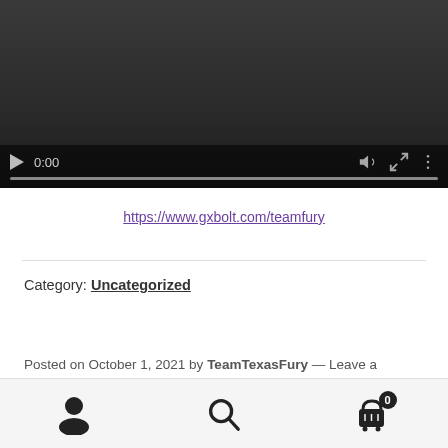[Figure (screenshot): Video player with dark background showing controls: play button, time display 0:00, volume, fullscreen, and options icons, with a progress bar at the bottom.]
https://www.gxbolt.com/teamfury
Category: Uncategorized
Posted on October 1, 2021 by TeamTexasFury — Leave a
[Figure (screenshot): Bottom navigation bar with person/account icon, search icon, and shopping cart icon with badge showing 0.]